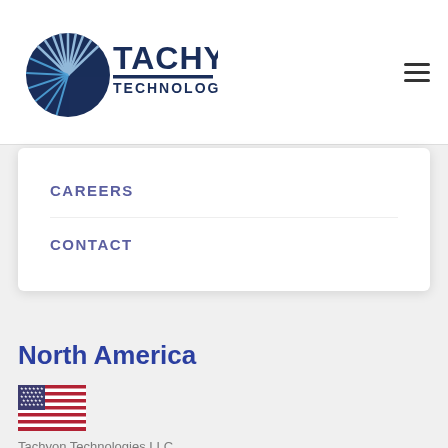[Figure (logo): Tachyon Technologies logo with circular blue radial graphic and bold dark blue text reading TACHYON TECHNOLOGIES]
[Figure (other): Hamburger menu icon (three horizontal lines)]
CAREERS
CONTACT
North America
[Figure (illustration): US flag emoji/icon]
Tachyon Technologies LLC